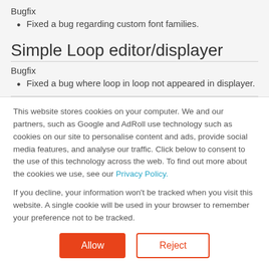Bugfix
Fixed a bug regarding custom font families.
Simple Loop editor/displayer
Bugfix
Fixed a bug where loop in loop not appeared in displayer.
This website stores cookies on your computer. We and our partners, such as Google and AdRoll use technology such as cookies on our site to personalise content and ads, provide social media features, and analyse our traffic. Click below to consent to the use of this technology across the web. To find out more about the cookies we use, see our Privacy Policy.
If you decline, your information won’t be tracked when you visit this website. A single cookie will be used in your browser to remember your preference not to be tracked.